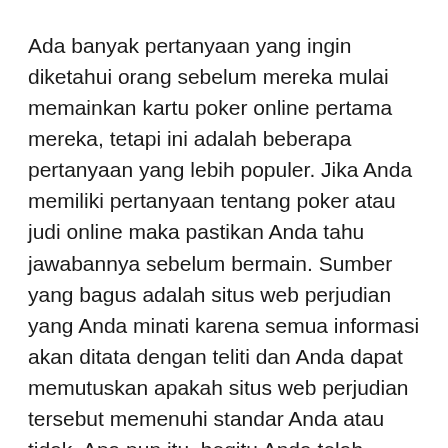Ada banyak pertanyaan yang ingin diketahui orang sebelum mereka mulai memainkan kartu poker online pertama mereka, tetapi ini adalah beberapa pertanyaan yang lebih populer. Jika Anda memiliki pertanyaan tentang poker atau judi online maka pastikan Anda tahu jawabannya sebelum bermain. Sumber yang bagus adalah situs web perjudian yang Anda minati karena semua informasi akan ditata dengan teliti dan Anda dapat memutuskan apakah situs web perjudian tersebut memenuhi standar Anda atau tidak. Apa pun itu, begitu Anda telah menemukan situs poker online yang bagus, cukup nikmati permainan yang Anda sukai setiap saat, siang atau malam hari.